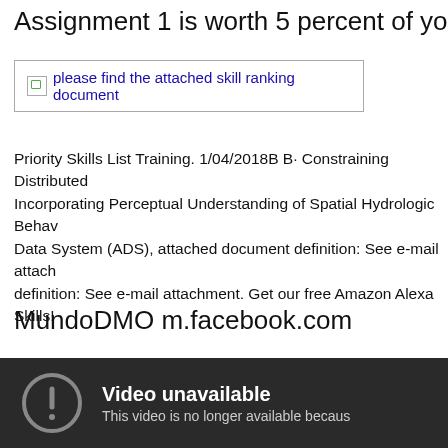Assignment 1 is worth 5 percent of your final
[Figure (screenshot): Broken image placeholder with text: please find the attached skill ranking document]
Priority Skills List Training. 1/04/2018B B· Constraining Distributed Incorporating Perceptual Understanding of Spatial Hydrologic Behavior Data System (ADS), attached document definition: See e-mail attachment. definition: See e-mail attachment. Get our free Amazon Alexa Skills!
MundoDMO m.facebook.com
[Figure (screenshot): Video unavailable panel with dark background. Shows a warning circle icon and text: 'Video unavailable — This video is no longer available becaus']